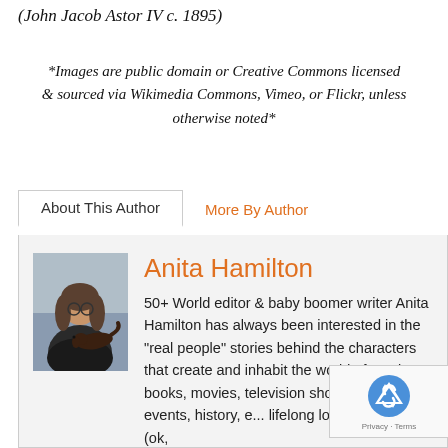(John Jacob Astor IV c. 1895)
*Images are public domain or Creative Commons licensed & sourced via Wikimedia Commons, Vimeo, or Flickr, unless otherwise noted*
About This Author
More By Author
[Figure (photo): Author photo: Anita Hamilton, a woman holding a dog]
Anita Hamilton
50+ World editor & baby boomer writer Anita Hamilton has always been interested in the "real people" stories behind the characters that create and inhabit the world of music, books, movies, television shows, current events, history, e... lifelong love of research (ok,